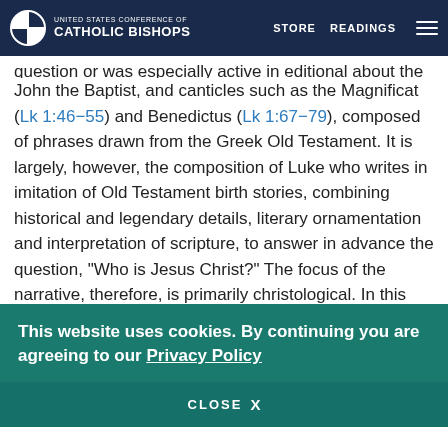UNITED STATES CONFERENCE OF CATHOLIC BISHOPS | STORE | READINGS
John the Baptist, and canticles such as the Magnificat (Lk 1:46–55) and Benedictus (Lk 1:67–79), composed of phrases drawn from the Greek Old Testament. It is largely, however, the composition of Luke who writes in imitation of Old Testament birth stories, combining historical and legendary details, literary ornamentation and interpretation of scripture, to answer in advance the question, “Who is Jesus Christ?” The focus of the narrative, therefore, is primarily christological. In this section Luke announces many of the themes that will become prominent in the rest of the gospel: the centrality of Jerusalem and the temple, the journey motif, the universality of salvation, joy and peace, concern for
This website uses cookies. By continuing you are agreeing to our Privacy Policy
CLOSE X